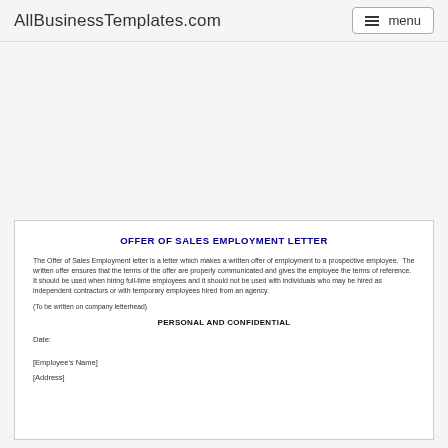AllBusinessTemplates.com  menu
OFFER OF SALES EMPLOYMENT LETTER
The Offer of Sales Employment letter is a letter which makes a written offer of employment to a prospective employee. The written offer ensures that the terms of the offer are properly communicated and gives the employee the terms of reference. It should be used when hiring full-time employees and it should not be used with individuals who may be hired as independent contractors or with temporary employees hired from an agency.
(To be written on company letterhead)
PERSONAL AND CONFIDENTIAL
Date:
[Employee's Name]
[Address]